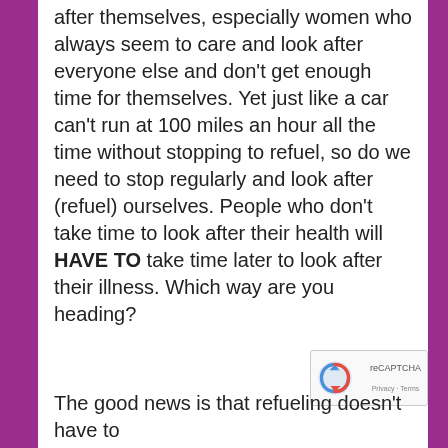after themselves, especially women who always seem to care and look after everyone else and don't get enough time for themselves. Yet just like a car can't run at 100 miles an hour all the time without stopping to refuel, so do we need to stop regularly and look after (refuel) ourselves. People who don't take time to look after their health will HAVE TO take time later to look after their illness. Which way are you heading?
The good news is that refueling doesn't have to